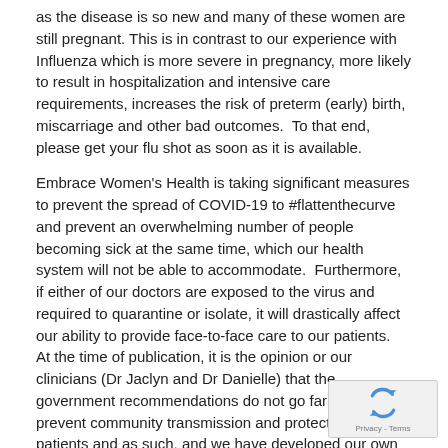as the disease is so new and many of these women are still pregnant. This is in contrast to our experience with Influenza which is more severe in pregnancy, more likely to result in hospitalization and intensive care requirements, increases the risk of preterm (early) birth, miscarriage and other bad outcomes.  To that end, please get your flu shot as soon as it is available.
Embrace Women's Health is taking significant measures to prevent the spread of COVID-19 to #flattenthecurve and prevent an overwhelming number of people becoming sick at the same time, which our health system will not be able to accommodate.  Furthermore, if either of our doctors are exposed to the virus and required to quarantine or isolate, it will drastically affect our ability to provide face-to-face care to our patients.  At the time of publication, it is the opinion or our clinicians (Dr Jaclyn and Dr Danielle) that the government recommendations do not go far enough to prevent community transmission and protect our patients and as such, and we have developed our own strategy to limit the spread.
The responsibility rests with all of us to behave responsibly and ethically for the protection of our community.